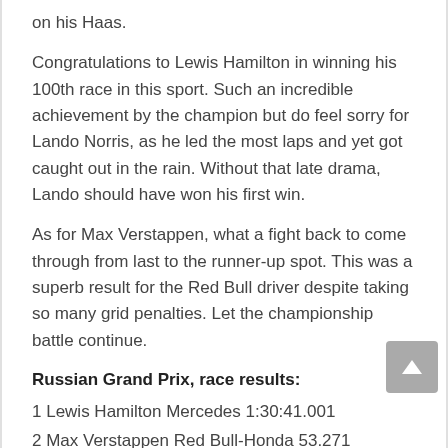on his Haas.
Congratulations to Lewis Hamilton in winning his 100th race in this sport. Such an incredible achievement by the champion but do feel sorry for Lando Norris, as he led the most laps and yet got caught out in the rain. Without that late drama, Lando should have won his first win.
As for Max Verstappen, what a fight back to come through from last to the runner-up spot. This was a superb result for the Red Bull driver despite taking so many grid penalties. Let the championship battle continue.
Russian Grand Prix, race results:
1 Lewis Hamilton Mercedes 1:30:41.001
2 Max Verstappen Red Bull-Honda 53.271
3 Carlos Sainz Jr. Ferrari 1'02.475
4 Daniel Ricciardo McLaren-Mercedes 1'05.607
5 Valtteri Bottas Mercedes 1'07.533